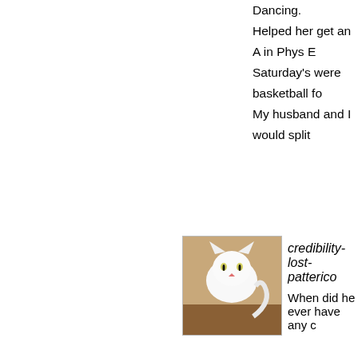Dancing.
Helped her get an A in Phys E...
Saturday's were basketball fo...
My husband and I would split...
[Figure (photo): White cat sitting, avatar for user credibility-lost-patterico]
credibility-lost-patterico
When did he ever have any c...
[Figure (photo): Golden retriever dog face, avatar for comment about tax]
It's a tax.
Yesterday it was a fee...
[Figure (other): Blue wave/fan pattern logo avatar]
Don't we limit the number of l...
[Figure (other): Robin avatar with broken image icon]
Mary Rose, did they have the... officiate? That seemed to say...